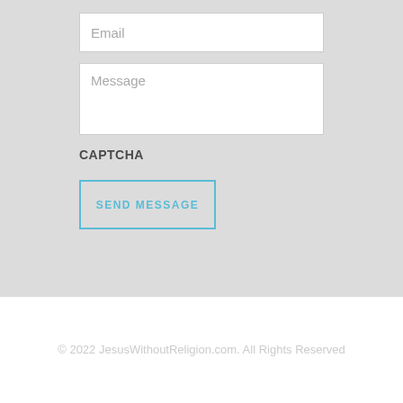Email
Message
CAPTCHA
SEND MESSAGE
© 2022 JesusWithoutReligion.com. All Rights Reserved